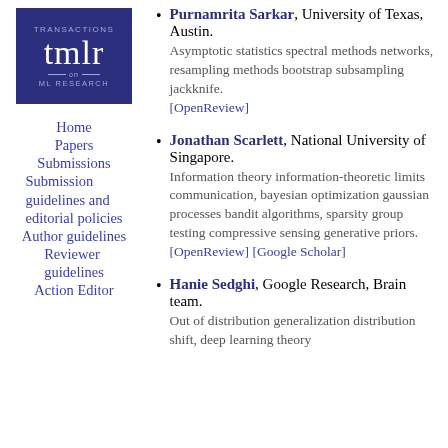[Figure (logo): TMLR (Transactions on ML Research) logo - dark blue/navy background with stylized 'tmlr' text and 'TRANSACTIONS on ML RESEARCH' text]
Home
Papers
Submissions
Submission guidelines and editorial policies
Author guidelines
Reviewer guidelines
Action Editor
Purnamrita Sarkar, University of Texas, Austin. Asymptotic statistics spectral methods networks, resampling methods bootstrap subsampling jackknife. [OpenReview]
Jonathan Scarlett, National University of Singapore. Information theory information-theoretic limits communication, bayesian optimization gaussian processes bandit algorithms, sparsity group testing compressive sensing generative priors. [OpenReview] [Google Scholar]
Hanie Sedghi, Google Research, Brain team. Out of distribution generalization distribution shift, deep learning theory